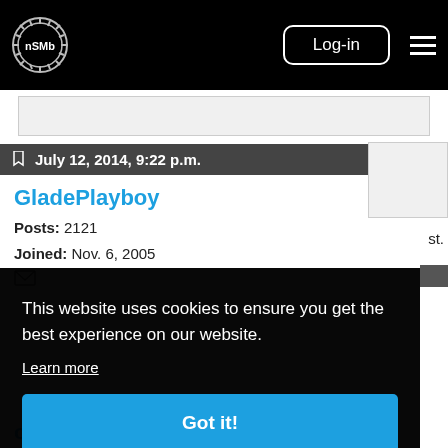nSMb — Log-in navigation bar
July 12, 2014, 9:22 p.m.
GladePlayboy
Posts: 2121
Joined: Nov. 6, 2005
This website uses cookies to ensure you get the best experience on our website.
Learn more
Got it!
old_rat_slow